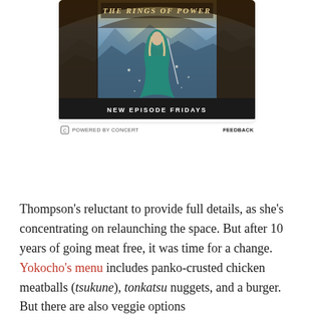[Figure (screenshot): Advertisement for 'The Rings of Power' TV show on Amazon Prime. Shows a woman in a teal dress with a sword standing in a fantasy landscape viewed through an arch. Text at bottom reads 'NEW EPISODE FRIDAYS'. Below the image: 'POWERED BY CONCERT' on the left and 'FEEDBACK' on the right.]
Thompson's reluctant to provide full details, as she's concentrating on relaunching the space. But after 10 years of going meat free, it was time for a change. Yokocho's menu includes panko-crusted chicken meatballs (tsukune), tonkatsu nuggets, and a burger. But there are also veggie options